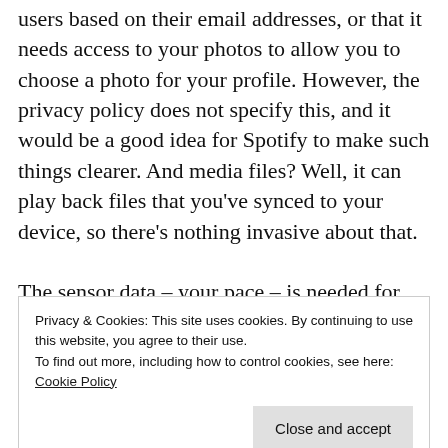users based on their email addresses, or that it needs access to your photos to allow you to choose a photo for your profile. However, the privacy policy does not specify this, and it would be a good idea for Spotify to make such things clearer. And media files? Well, it can play back files that you've synced to your device, so there's nothing invasive about that.
The sensor data – your pace – is needed for Spotify's new feature of playlists that match
Privacy & Cookies: This site uses cookies. By continuing to use this website, you agree to their use.
To find out more, including how to control cookies, see here: Cookie Policy
what's invasive.